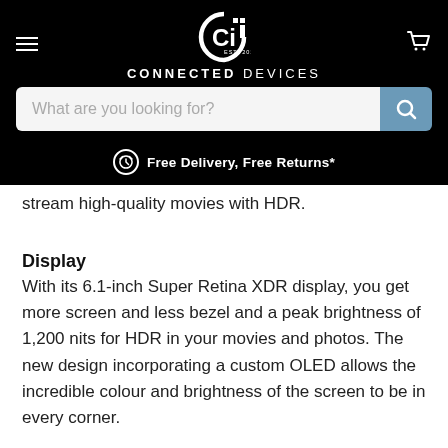[Figure (logo): Connected Devices logo: white 'Ci' monogram with 'EST. 2016' on black background, with hamburger menu icon on left and shopping cart icon on right]
[Figure (screenshot): Search bar with placeholder 'What are you looking for?' and blue search button with magnifying glass icon]
Free Delivery, Free Returns*
stream high-quality movies with HDR.
Display
With its 6.1-inch Super Retina XDR display, you get more screen and less bezel and a peak brightness of 1,200 nits for HDR in your movies and photos. The new design incorporating a custom OLED allows the incredible colour and brightness of the screen to be in every corner.
Compatibility with HDR and Dolby Vision ensures you can watch your movies, with the full array of lighting making it a more immersive experience. While the 2532 x 1170-